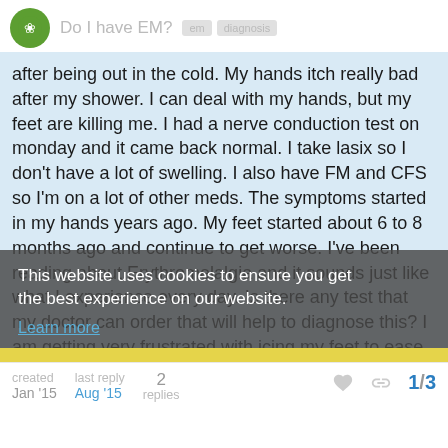Do I have EM?
after being out in the cold. My hands itch really bad after my shower. I can deal with my hands, but my feet are killing me. I had a nerve conduction test on monday and it came back normal. I take lasix so I don't have a lot of swelling. I also have FM and CFS so I'm on a lot of other meds. The symptoms started in my hands years ago. My feet started about 6 to 8 months ago and continue to get worse. I've been reading about Erythromelalgia and it sounds just like what I experience every day. Is there any test that my doctor can order that will help to diagnose this? I am getting very frustrated with icing my feet to ease the burning on my feet and elevation along with an aspirin. The redness and pain lessened. Does this sound like Erythromelalgia?
This website uses cookies to ensure you get the best experience on our website.
Learn more
Got it!
created Jan '15  last reply Aug '15  2 replies  1/3